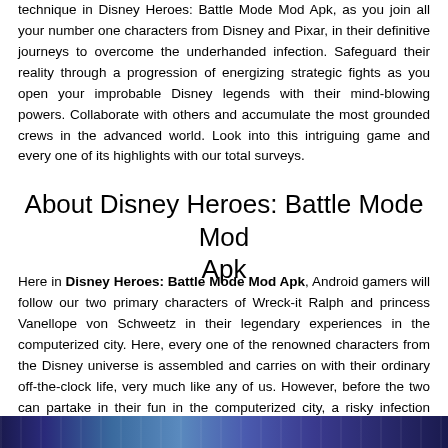technique in Disney Heroes: Battle Mode Mod Apk, as you join all your number one characters from Disney and Pixar, in their definitive journeys to overcome the underhanded infection. Safeguard their reality through a progression of energizing strategic fights as you open your improbable Disney legends with their mind-blowing powers. Collaborate with others and accumulate the most grounded crews in the advanced world. Look into this intriguing game and every one of its highlights with our total surveys.
About Disney Heroes: Battle Mode Mod Apk
Here in Disney Heroes: Battle Mode Mod Apk, Android gamers will follow our two primary characters of Wreck-it Ralph and princess Vanellope von Schweetz in their legendary experiences in the computerized city. Here, every one of the renowned characters from the Disney universe is assembled and carries on with their ordinary off-the-clock life, very much like any of us. However, before the two can partake in their fun in the computerized city, a risky infection from an adulterated game has invaded the city and is immediately increased into different duplicates.
[Figure (photo): A colorful banner or screenshot from Disney Heroes: Battle Mode showing characters in a blue-toned digital city environment.]